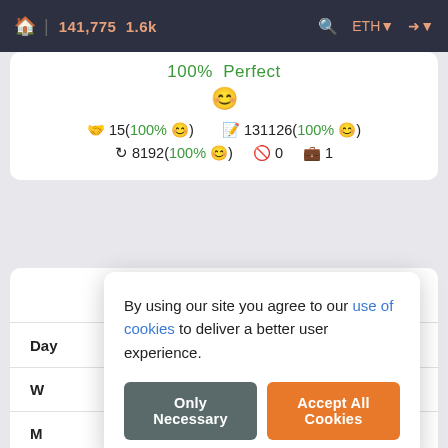🏠 | 141,775  1.6k   🔍  ETH ▾  ➡ ▾
100% Perfect 😊
🤝 15(100% 😊)   📋 131126(100% 😊)   🔄 8192(100% 😊)   🚫 0   💼 1
Income
|  |  |
| --- | --- |
| Day | +0.00332 ETH |
| W |  |
| M |  |
| AP |  |
By using our site you agree to our use of cookies to deliver a better user experience.
Only Necessary   Accept All Cookies